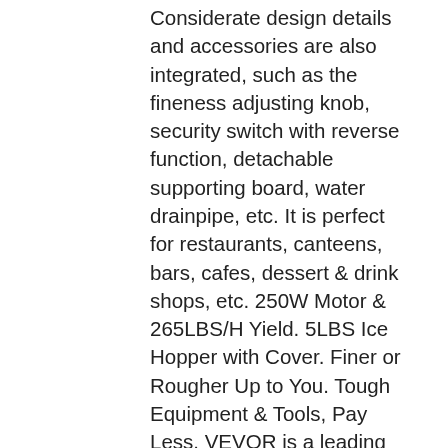Considerate design details and accessories are also integrated, such as the fineness adjusting knob, security switch with reverse function, detachable supporting board, water drainpipe, etc. It is perfect for restaurants, canteens, bars, cafes, dessert & drink shops, etc. 250W Motor & 265LBS/H Yield. 5LBS Ice Hopper with Cover. Finer or Rougher Up to You. Tough Equipment & Tools, Pay Less. VEVOR is a leading brand that specializes in equipment and tools. Along with thousands of motivated employees, VEVOR is dedicated to providing our customers with tough equipment & tools at incredibly low prices. Powerful Motor & Blade. Fueled by a potent 250W copper motor (320 RPM), our electric ice crusher can bring you about 265 lbs (120 kg) of crushed ice per hour with low noise. From the comfort of the integral triple blades, higher ice shaving efficiency can also be assured. And a